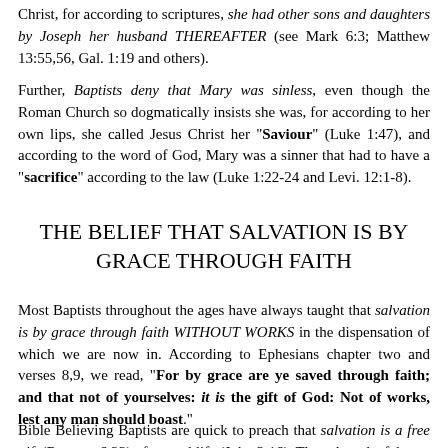Christ, for according to scriptures, she had other sons and daughters by Joseph her husband THEREAFTER (see Mark 6:3; Matthew 13:55,56, Gal. 1:19 and others).
Further, Baptists deny that Mary was sinless, even though the Roman Church so dogmatically insists she was, for according to her own lips, she called Jesus Christ her "Saviour" (Luke 1:47), and according to the word of God, Mary was a sinner that had to have a "sacrifice" according to the law (Luke 1:22-24 and Levi. 12:1-8).
THE BELIEF THAT SALVATION IS BY GRACE THROUGH FAITH
Most Baptists throughout the ages have always taught that salvation is by grace through faith WITHOUT WORKS in the dispensation of which we are now in. According to Ephesians chapter two and verses 8,9, we read, "For by grace are ye saved through faith; and that not of yourselves: it is the gift of God: Not of works, lest any man should boast."
Bible Believing Baptists are quick to preach that salvation is a free gift (Romans 6:23) of eternal life (John 3:16). They shun the false teaching that the law will save (Galatians 3:13) and are also battling...